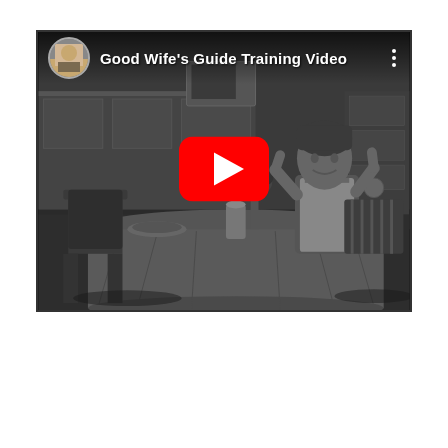[Figure (screenshot): YouTube video thumbnail screenshot showing 'Good Wife's Guide Training Video'. Black and white image of a woman in an apron sitting at a kitchen table. A YouTube play button (red rounded rectangle with white triangle) is overlaid in the center. The video title and a circular avatar thumbnail appear in the top-left corner.]